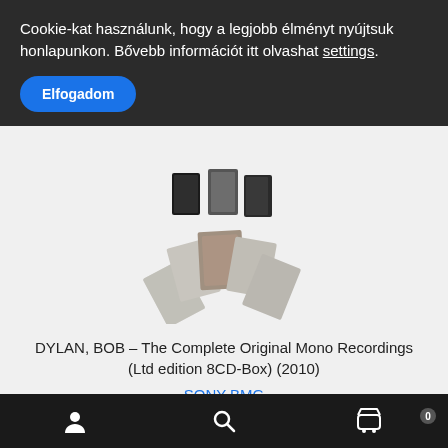Cookie-kat használunk, hogy a legjobb élményt nyújtsuk honlapunkon. Bővebb információt itt olvashat settings.
Elfogadom
[Figure (photo): Bob Dylan Complete Original Mono Recordings Ltd edition 8CD-Box product image showing multiple CD booklets fanned out]
DYLAN, BOB – The Complete Original Mono Recordings (Ltd edition 8CD-Box) (2010)
SONY-BMG
21.990 Ft
Bottom navigation bar with user, search, and cart icons